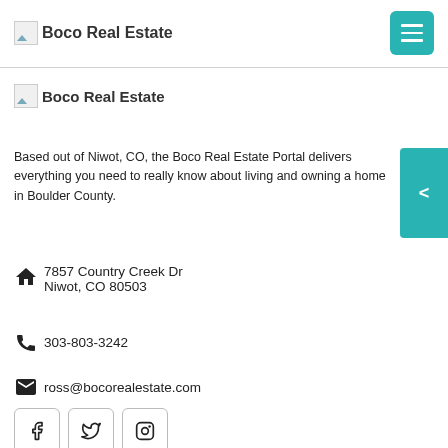Boco Real Estate
[Figure (logo): Boco Real Estate secondary logo]
Based out of Niwot, CO, the Boco Real Estate Portal delivers everything you need to really know about living and owning a home in Boulder County.
7857 Country Creek Dr
Niwot, CO 80503
303-803-3242
ross@bocorealestate.com
[Figure (other): Social media icons: Facebook, Twitter, Instagram]